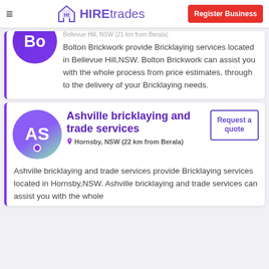HIREtrades — Register Business
Bellevue Hill, NSW (21 km from Berala)
Bolton Brickwork provide Bricklaying services located in Bellevue Hill,NSW. Bolton Brickwork can assist you with the whole process from price estimates, through to the delivery of your Bricklaying needs.
Ashville bricklaying and trade services
Hornsby, NSW (22 km from Berala)
Request a quote
Ashville bricklaying and trade services provide Bricklaying services located in Hornsby,NSW. Ashville bricklaying and trade services can assist you with the whole